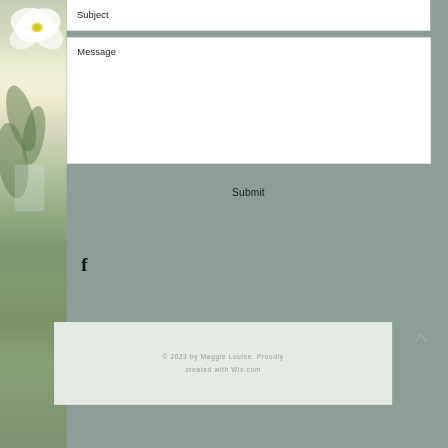Subject
Message
Submit
[Figure (illustration): Facebook logo letter f icon in black]
[Figure (photo): White and yellow flowers in a glass vase on grey background, partially visible on the left side]
© 2023 by Maggie Louise. Proudly created with Wix.com